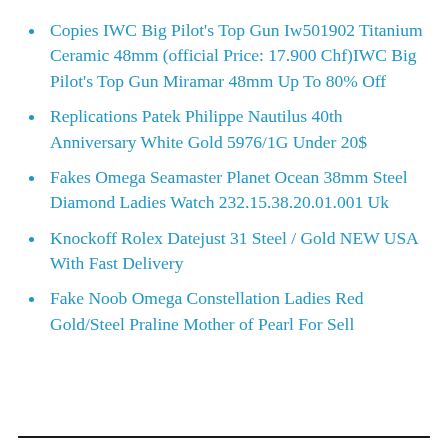Copies IWC Big Pilot's Top Gun Iw501902 Titanium Ceramic 48mm (official Price: 17.900 Chf)IWC Big Pilot's Top Gun Miramar 48mm Up To 80% Off
Replications Patek Philippe Nautilus 40th Anniversary White Gold 5976/1G Under 20$
Fakes Omega Seamaster Planet Ocean 38mm Steel Diamond Ladies Watch 232.15.38.20.01.001 Uk
Knockoff Rolex Datejust 31 Steel / Gold NEW USA With Fast Delivery
Fake Noob Omega Constellation Ladies Red Gold/Steel Praline Mother of Pearl For Sell